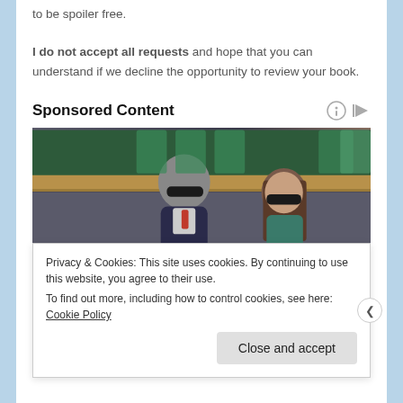to be spoiler free.
I do not accept all requests and hope that you can understand if we decline the opportunity to review your book.
Sponsored Content
[Figure (photo): Two people wearing sunglasses seated at what appears to be a sporting event, with green seats visible in the background. A man in a dark suit and a woman with long brown hair.]
Privacy & Cookies: This site uses cookies. By continuing to use this website, you agree to their use.
To find out more, including how to control cookies, see here: Cookie Policy
Close and accept